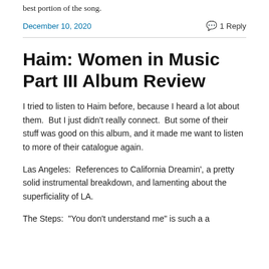best portion of the song.
December 10, 2020    💬 1 Reply
Haim: Women in Music Part III Album Review
I tried to listen to Haim before, because I heard a lot about them.  But I just didn't really connect.  But some of their stuff was good on this album, and it made me want to listen to more of their catalogue again.
Las Angeles:  References to California Dreamin', a pretty solid instrumental breakdown, and lamenting about the superficiality of LA.
The Steps:  "You don't understand me" is such a a